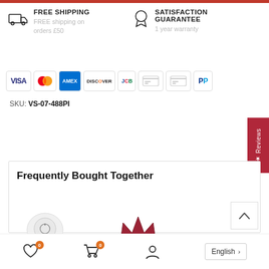FREE SHIPPING — FREE shipping on orders £50
SATISFACTION GUARANTEE — 1 year warranty
[Figure (other): Payment method icons: VISA, Mastercard, AMEX, Discover, JCB, generic card x2, PayPal]
SKU: VS-07-488PI
★ Reviews
Frequently Bought Together
[Figure (other): Product images: white round device and red crown-shaped product]
0 (wishlist) 0 (cart) Account English >